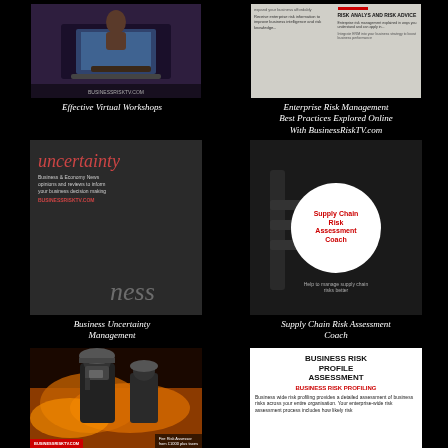[Figure (photo): Person at laptop, dark purple background]
[Figure (photo): Enterprise risk management analytics page with two columns of text]
Effective Virtual Workshops
Enterprise Risk Management Best Practices Explored Online With BusinessRiskTV.com
[Figure (photo): Business uncertainty newspaper/magazine image with red italic uncertainty text]
[Figure (photo): Supply Chain Risk Assessment Coach - robot/industrial background with white circle containing red text]
Business Uncertainty Management
Supply Chain Risk Assessment Coach
[Figure (photo): Firefighter in front of flames]
[Figure (infographic): Business Risk Profile Assessment white card with title, subtitle BUSINESS RISK PROFILING and body text about business-wide risk profiling]